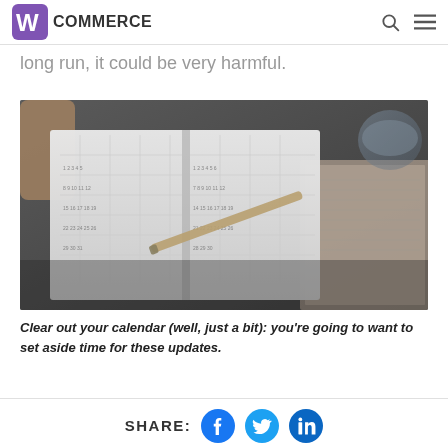WooCommerce
long run, it could be very harmful.
[Figure (photo): Close-up photo of an open planner/calendar notebook with a pen resting on it, along with other books in the background, taken in a dark moody style.]
Clear out your calendar (well, just a bit): you’re going to want to set aside time for these updates.
SHARE: [Facebook] [Twitter] [LinkedIn]